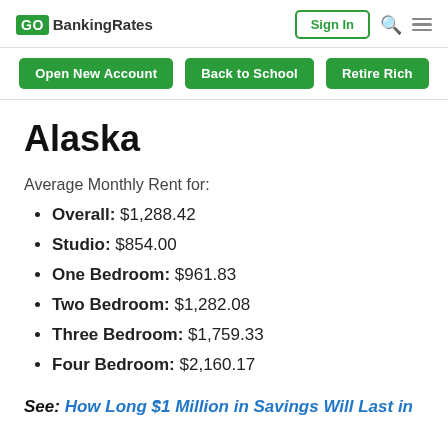GOBankingRates | Sign In | Search | Menu
Open New Account | Back to School | Retire Rich
Alaska
Average Monthly Rent for:
Overall: $1,288.42
Studio: $854.00
One Bedroom: $961.83
Two Bedroom: $1,282.08
Three Bedroom: $1,759.33
Four Bedroom: $2,160.17
See: How Long $1 Million in Savings Will Last in